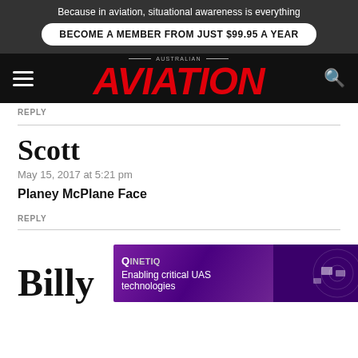Because in aviation, situational awareness is everything
BECOME A MEMBER FROM JUST $99.95 A YEAR
[Figure (logo): Australian Aviation magazine logo with red italic AVIATION text on black background, with hamburger menu icon on left and search icon on right]
REPLY
Scott
May 15, 2017 at 5:21 pm
Planey McPlane Face
REPLY
Billy
[Figure (advertisement): QinetiQ advertisement: Enabling critical UAS technologies, purple/violet background with drone imagery]